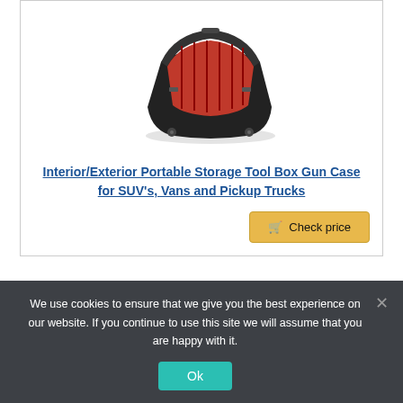[Figure (photo): Black hard-shell tool/gun case open showing red foam interior compartments and dividers, with wheels visible, photographed at an angle from above]
Interior/Exterior Portable Storage Tool Box Gun Case for SUV's, Vans and Pickup Trucks
Check price
Last update on 2022-08-28 / Affiliate links / Images from Amazon Product Advertising API
We use cookies to ensure that we give you the best experience on our website. If you continue to use this site we will assume that you are happy with it.